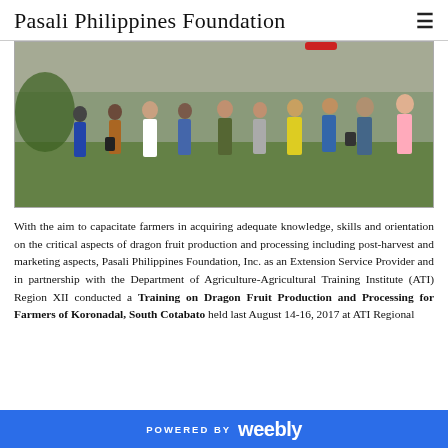Pasali Philippines Foundation
[Figure (photo): Group of farmers and extension workers standing outdoors on a grassy area near a concrete wall, engaged in discussion or field activity.]
With the aim to capacitate farmers in acquiring adequate knowledge, skills and orientation on the critical aspects of dragon fruit production and processing including post-harvest and marketing aspects, Pasali Philippines Foundation, Inc. as an Extension Service Provider and in partnership with the Department of Agriculture-Agricultural Training Institute (ATI) Region XII conducted a Training on Dragon Fruit Production and Processing for Farmers of Koronadal, South Cotabato held last August 14-16, 2017 at ATI Regional
POWERED BY weebly